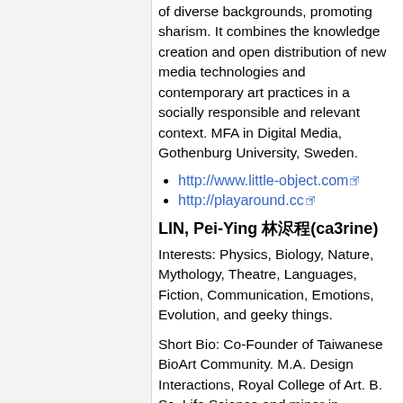of diverse backgrounds, promoting sharism. It combines the knowledge creation and open distribution of new media technologies and contemporary art practices in a socially responsible and relevant context. MFA in Digital Media, Gothenburg University, Sweden.
http://www.little-object.com
http://playaround.cc
LIN, Pei-Ying 林沛瑩(ca3rine)
Interests: Physics, Biology, Nature, Mythology, Theatre, Languages, Fiction, Communication, Emotions, Evolution, and geeky things.
Short Bio: Co-Founder of Taiwanese BioArt Community. M.A. Design Interactions, Royal College of Art. B. Sc. Life Science and minor in Computer Science and Humanities & Social...